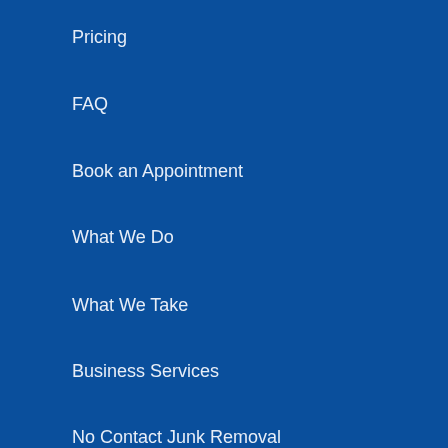Pricing
FAQ
Book an Appointment
What We Do
What We Take
Business Services
No Contact Junk Removal
About Us
Company
Reviews
Locations
Environment
Blog